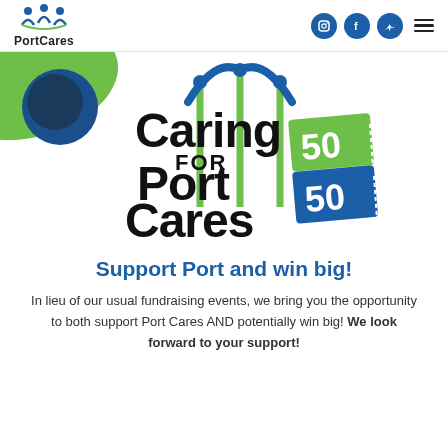PortCares
[Figure (logo): Caring for Port Cares 50/50 raffle logo with blue arch poles and green decorative elements, ticket graphics showing 50/50]
Support Port and win big!
In lieu of our usual fundraising events, we bring you the opportunity to both support Port Cares AND potentially win big! We look forward to your support!